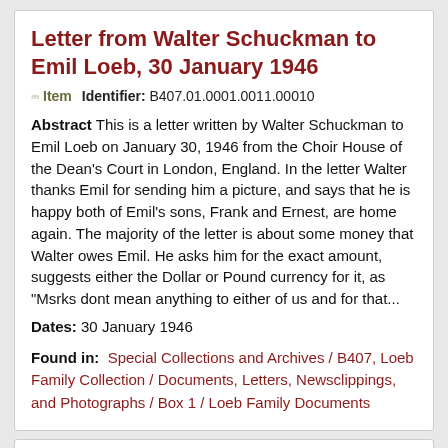Letter from Walter Schuckman to Emil Loeb, 30 January 1946
Item  Identifier: B407.01.0001.0011.00010
Abstract This is a letter written by Walter Schuckman to Emil Loeb on January 30, 1946 from the Choir House of the Dean's Court in London, England. In the letter Walter thanks Emil for sending him a picture, and says that he is happy both of Emil's sons, Frank and Ernest, are home again. The majority of the letter is about some money that Walter owes Emil. He asks him for the exact amount, suggests either the Dollar or Pound currency for it, as "Msrks dont mean anything to either of us and for that...
Dates: 30 January 1946
Found in: Special Collections and Archives / B407, Loeb Family Collection / Documents, Letters, Newsclippings, and Photographs / Box 1 / Loeb Family Documents
Letter from Walter Schuckman to